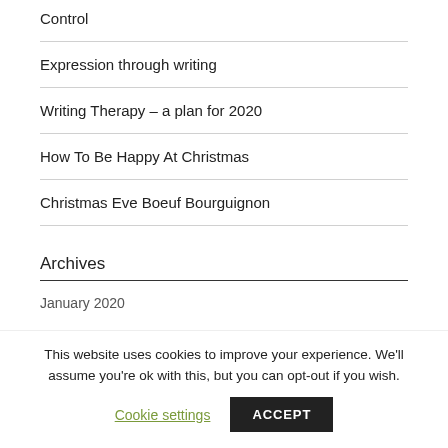Control
Expression through writing
Writing Therapy – a plan for 2020
How To Be Happy At Christmas
Christmas Eve Boeuf Bourguignon
Archives
January 2020
This website uses cookies to improve your experience. We'll assume you're ok with this, but you can opt-out if you wish.
Cookie settings
ACCEPT